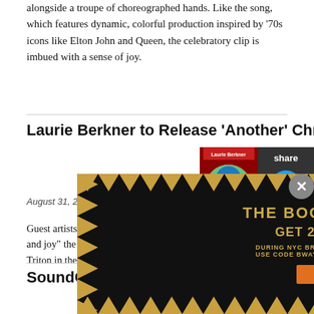alongside a troupe of choreographed hands. Like the song, which features dynamic, colorful production inspired by '70s icons like Elton John and Queen, the celebratory clip is imbued with a sense of joy.
Laurie Berkner to Release 'Another' Christmas Album in October
August 31, 2022
[Figure (photo): Album cover for Laurie Berkner Christmas album with holiday illustration]
[Figure (infographic): Share panel with Twitter and Facebook icons on dark background]
Guest artists Suzzy Roche and her talented and daughter Lucy Wainwright Roche join Laurie in echoing the sounds of "love and joy" the traditional English carol, “Here We Come A-Wassailing,” and Broadway legend Norm Lewis (the original King Triton in the Broadway production of The Little Mermaid) lends his glorious voice to “Good King Wenceslas.”
SoundCloud Rap Scene Doc
[Figure (photo): Thumbnail image for SoundCloud Rap Scene documentary article]
[Figure (infographic): Advertisement for The Book of Mormon musical - GET 2-FOR-1 TICKETS DURING NYC BROADWAY WEEK SEPTEMBER 6-25 USE CODE BWAYWK GET TICKETS]